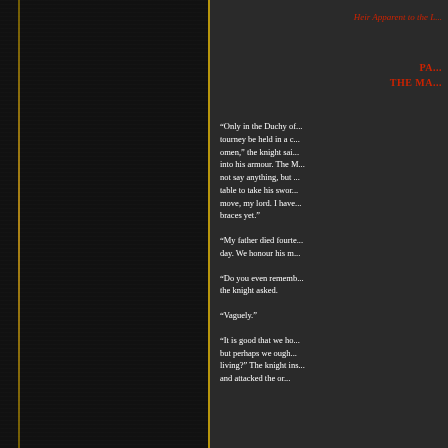Heir Apparent to the L...
PA...
THE MA...
“Only in the Duchy of... tourney be held in a c... omen,” the knight sai... into his armour. The M... not say anything, but ... table to take his swor... move, my lord. I have... braces yet.”
“My father died fourte... day. We honour his m...
“Do you even rememb... the knight asked.
“Vaguely.”
“It is good that we ho... but perhaps we ough... living?” The knight ins... and attacked the or...